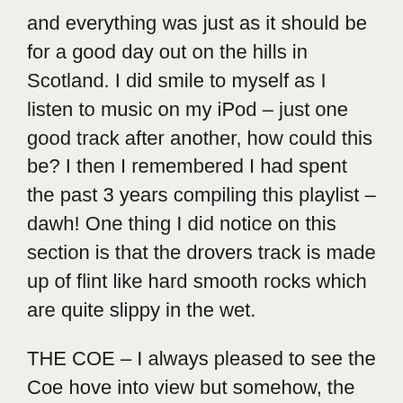and everything was just as it should be for a good day out on the hills in Scotland. I did smile to myself as I listen to music on my iPod – just one good track after another, how could this be? I then I remembered I had spent the past 3 years compiling this playlist – dawh! One thing I did notice on this section is that the drovers track is made up of flint like hard smooth rocks which are quite slippy in the wet.
THE COE – I always pleased to see the Coe hove into view but somehow, the appearance of the road far below me as I descended from the heavy cloud cover was extra special. It meant that real progress had been made and it was all downhill to the check point at Black Rock cottage and then over the road to my RV point at the Kingshouse. Another 2 litres of Nuun, more gels, cereal bars, mini Mars Bars and, of course, Hula Hoops – which never tasted so good! And of my